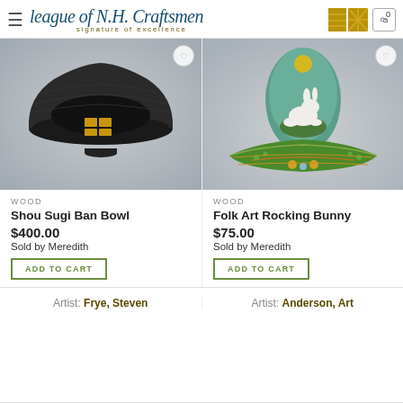League of N.H. Craftsmen — signature of excellence
[Figure (photo): Black Shou Sugi Ban Bowl with gold inlay squares on grey background]
[Figure (photo): Folk Art Rocking Bunny — white rabbit on green rocking base with teal leaf backdrop]
WOOD
Shou Sugi Ban Bowl
$400.00
Sold by Meredith
WOOD
Folk Art Rocking Bunny
$75.00
Sold by Meredith
ADD TO CART
ADD TO CART
Artist: Frye, Steven
Artist: Anderson, Art